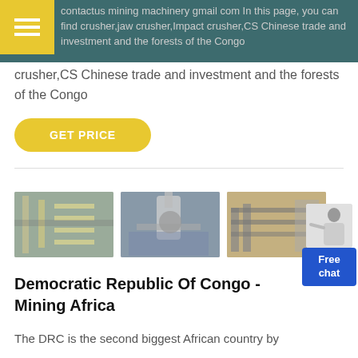contactus mining machinery gmail com In this page, you can find crusher,jaw crusher,Impact crusher,CS Chinese trade and investment and the forests of the Congo
crusher,CS Chinese trade and investment and the forests of the Congo
GET PRICE
[Figure (photo): Three photos of mining/industrial machinery and equipment]
Democratic Republic Of Congo - Mining Africa
The DRC is the second biggest African country by